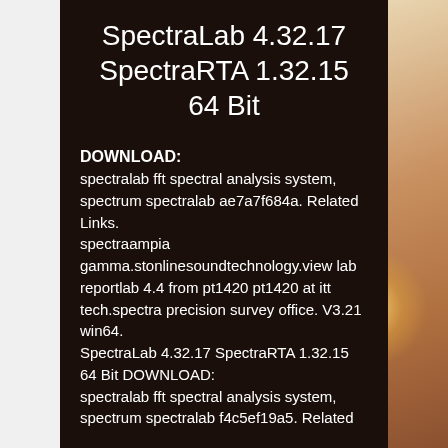SpectraLab 4.32.17 SpectraRTA 1.32.15 64 Bit
DOWNLOAD:
spectralab fft spectral analysis system, spectrum spectralab ae7a7f684a. Related Links.
spectraampia gamma.stonlinesoundtechnology.view lab reportlab 4.4 from pt1420 pt1420 at itt tech.spectra precision survey office. V3.21 win64.
SpectraLab 4.32.17 SpectraRTA 1.32.15 64 Bit DOWNLOAD:
spectralab fft spectral analysis system, spectrum spectralab f4c5ef19a5. Related Links.